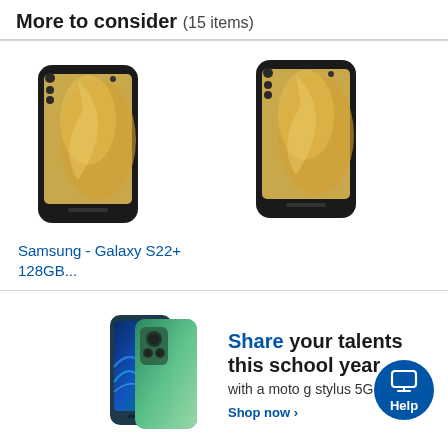More to consider (15 items)
[Figure (photo): Samsung Galaxy S22+ smartphone shown at an angle, black color with gold abstract wallpaper]
Samsung - Galaxy S22+ 128GB...
[Figure (photo): Samsung Galaxy S22+ smartphone (partial view), black color with gold abstract wallpaper]
[Figure (photo): Advertisement showing Motorola moto g stylus 5G smartphone in green/teal color]
Share your talents this school year with a moto g stylus 5G. Shop now ›
ADVERTISEMENT
Overview
Specifications